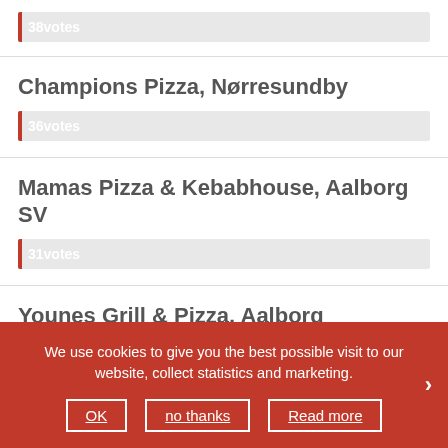38votes (partial top bar)
Champions Pizza, Nørresundby
36votes
Mamas Pizza & Kebabhouse, Aalborg SV
31votes
Younes Grill & Pizza, Aalborg
27votes
Torvet... (partial, behind banner)
We use cookies to give you the best possible visit to our website, collect statistics and marketing. OK | no thanks | Read more